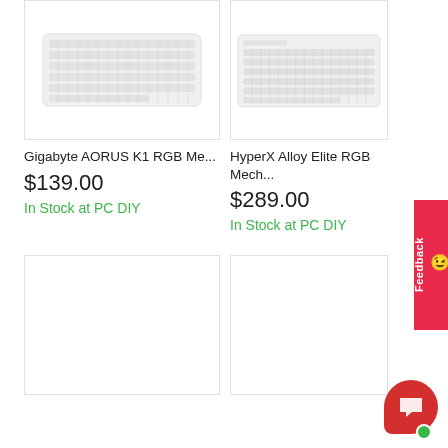[Figure (photo): White Gigabyte AORUS K1 RGB mechanical keyboard on white background]
Gigabyte AORUS K1 RGB Me...
$139.00
In Stock at PC DIY
[Figure (photo): White HyperX Alloy Elite RGB mechanical keyboard on white background]
HyperX Alloy Elite RGB Mech...
$289.00
In Stock at PC DIY
[Figure (photo): Empty product image placeholder box (bottom left)]
[Figure (photo): Empty product image placeholder box (bottom right)]